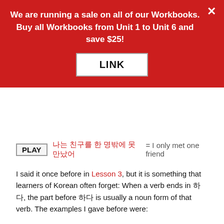We are running a sale on all of our Workbooks. Buy all Workbooks from Unit 1 to Unit 6 and save $25!
PLAY 나는 친구를 한 명밖에 못 만났어 = I only met one friend
I said it once before in Lesson 3, but it is something that learners of Korean often forget: When a verb ends in 하다, the part before 하다 is usually a noun form of that verb. The examples I gave before were:
성공하다 = succeed
성공 = success
말하다 = speak
말 = speech/words